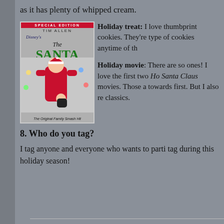as it has plenty of whipped cream.
[Figure (photo): DVD cover of The Santa Clause Special Edition featuring Tim Allen in a Santa suit with a child, Christmas lights in background. Red banner reads SPECIAL EDITION at top.]
Holiday treat: I love thumbprint cookies. They're type of cookies anytime of th
Holiday movie: There are so ones! I love the first two Ho Santa Claus movies. Those a towards first. But I also re classics.
8. Who do you tag?
I tag anyone and everyone who wants to parti tag during this holiday season!